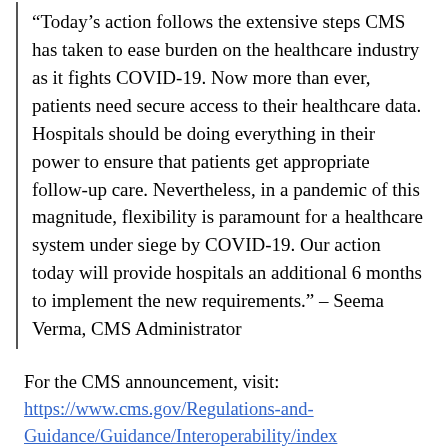“Today’s action follows the extensive steps CMS has taken to ease burden on the healthcare industry as it fights COVID-19. Now more than ever, patients need secure access to their healthcare data. Hospitals should be doing everything in their power to ensure that patients get appropriate follow-up care. Nevertheless, in a pandemic of this magnitude, flexibility is paramount for a healthcare system under siege by COVID-19. Our action today will provide hospitals an additional 6 months to implement the new requirements.” – Seema Verma, CMS Administrator
For the CMS announcement, visit:
https://www.cms.gov/Regulations-and-Guidance/Guidance/Interoperability/index
For the ONC announcement, visit:
https://healthit.gov/curesrule.